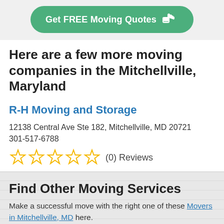[Figure (other): Green rounded button with white text 'Get FREE Moving Quotes' and a hand/pointing finger icon]
Here are a few more moving companies in the Mitchellville, Maryland
R-H Moving and Storage
12138 Central Ave Ste 182, Mitchellville, MD 20721
301-517-6788
[Figure (other): 5 empty star rating icons (gold outline) followed by '(0) Reviews']
Find Other Moving Services
Make a successful move with the right one of these Movers in Mitchellville, MD here.